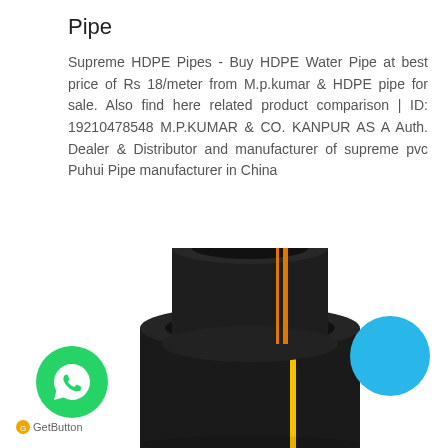Pipe
Supreme HDPE Pipes - Buy HDPE Water Pipe at best price of Rs 18/meter from M.p.kumar & HDPE pipe for sale. Also find here related product comparison | ID: 19210478548 M.P.KUMAR & CO. KANPUR AS A Auth. Dealer & Distributor and manufacturer of supreme pvc Puhui Pipe manufacturer in China
[Figure (photo): Two black HDPE pipes of different diameters stacked vertically, each with orange/yellow longitudinal stripes, on a white background. A blue circle appears on the right side.]
GetButton